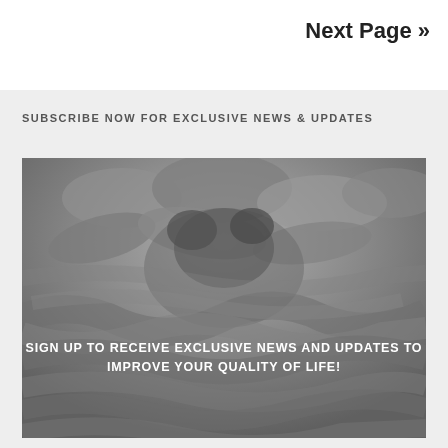Next Page »
SUBSCRIBE NOW FOR EXCLUSIVE NEWS & UPDATES
[Figure (photo): Grayscale close-up photo of braided rope or chain texture with text overlay reading: SIGN UP TO RECEIVE EXCLUSIVE NEWS AND UPDATES TO IMPROVE YOUR QUALITY OF LIFE!]
SIGN UP TO RECEIVE EXCLUSIVE NEWS AND UPDATES TO IMPROVE YOUR QUALITY OF LIFE!